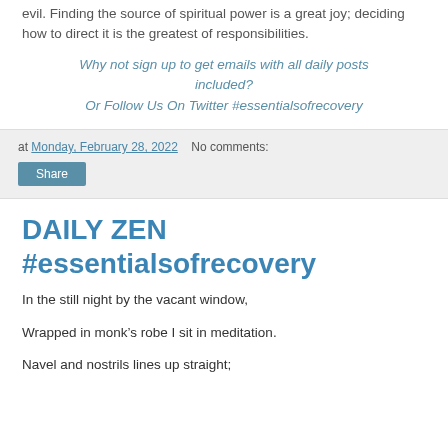evil. Finding the source of spiritual power is a great joy; deciding how to direct it is the greatest of responsibilities.
Why not sign up to get emails with all daily posts included?
Or Follow Us On Twitter #essentialsofrecovery
at Monday, February 28, 2022   No comments:
Share
DAILY ZEN #essentialsofrecovery
In the still night by the vacant window,
Wrapped in monk’s robe I sit in meditation.
Navel and nostrils lines up straight;